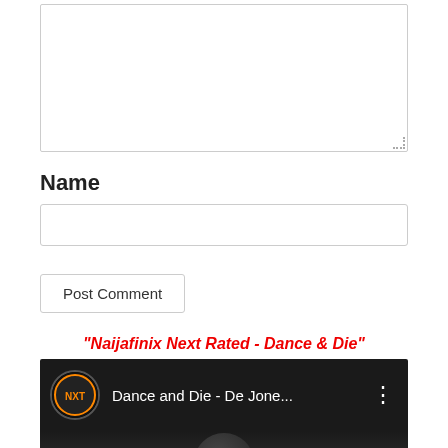[Figure (screenshot): Empty textarea input box for comment]
Name
[Figure (screenshot): Name text input field]
[Figure (screenshot): Post Comment button]
"Naijafinix Next Rated - Dance & Die"
[Figure (screenshot): YouTube video thumbnail showing 'Dance and Die - De Jone...' with channel icon, and a Cold War Get Your PVC banner at the bottom]